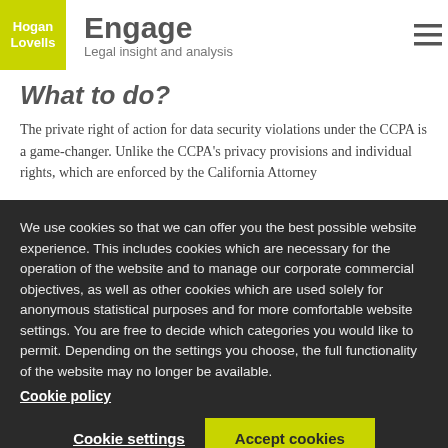[Figure (logo): Hogan Lovells logo — yellow/green square with white text]
Engage — Legal insight and analysis
What to do?
The private right of action for data security violations under the CCPA is a game-changer. Unlike the CCPA's privacy provisions and individual rights, which are enforced by the California Attorney
We use cookies so that we can offer you the best possible website experience. This includes cookies which are necessary for the operation of the website and to manage our corporate commercial objectives, as well as other cookies which are used solely for anonymous statistical purposes and for more comfortable website settings. You are free to decide which categories you would like to permit. Depending on the settings you choose, the full functionality of the website may no longer be available.
Cookie policy
Cookie settings    Accept cookies